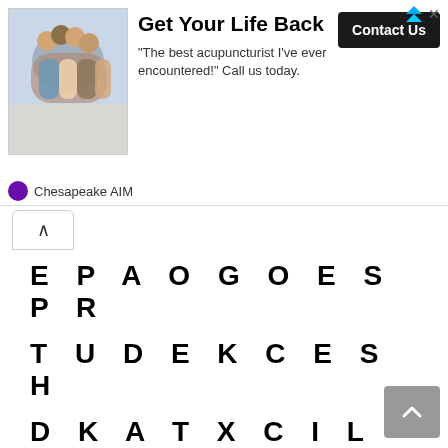[Figure (other): Advertisement banner: image of people hugging, headline 'Get Your Life Back', tagline '"The best acupuncturist I've ever encountered!" Call us today.', Contact Us button, Chesapeake AIM logo]
EPAOGOESPR
TUDEKCESH
DKATXCILGNU
LDLUKCIB
Answer: L D L U K C I B (DUCKBILL)
Picture Clues Quiz Answers – QuizDiva 100% Score